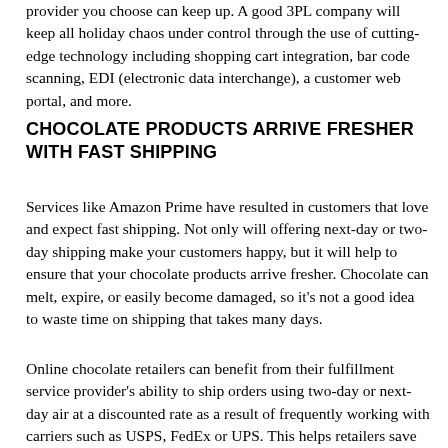provider you choose can keep up. A good 3PL company will keep all holiday chaos under control through the use of cutting-edge technology including shopping cart integration, bar code scanning, EDI (electronic data interchange), a customer web portal, and more.
CHOCOLATE PRODUCTS ARRIVE FRESHER WITH FAST SHIPPING
Services like Amazon Prime have resulted in customers that love and expect fast shipping. Not only will offering next-day or two-day shipping make your customers happy, but it will help to ensure that your chocolate products arrive fresher. Chocolate can melt, expire, or easily become damaged, so it’s not a good idea to waste time on shipping that takes many days.
Online chocolate retailers can benefit from their fulfillment service provider’s ability to ship orders using two-day or next-day air at a discounted rate as a result of frequently working with carriers such as USPS, FedEx or UPS. This helps retailers save both money and time by not having to contact and